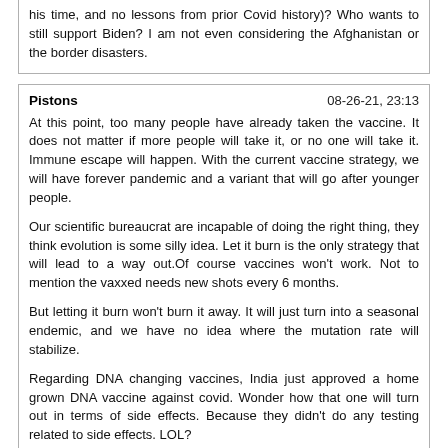his time, and no lessons from prior Covid history)? Who wants to still support Biden? I am not even considering the Afghanistan or the border disasters.
Pistons 08-26-21, 23:13
At this point, too many people have already taken the vaccine. It does not matter if more people will take it, or no one will take it. Immune escape will happen. With the current vaccine strategy, we will have forever pandemic and a variant that will go after younger people.

Our scientific bureaucrat are incapable of doing the right thing, they think evolution is some silly idea. Let it burn is the only strategy that will lead to a way out.Of course vaccines won't work. Not to mention the vaxxed needs new shots every 6 months.

But letting it burn won't burn it away. It will just turn into a seasonal endemic, and we have no idea where the mutation rate will stabilize.

Regarding DNA changing vaccines, India just approved a home grown DNA vaccine against covid. Wonder how that one will turn out in terms of side effects. Because they didn't do any testing related to side effects. LOL?
NiteRiderCal 08-27-21, 00:06
This shouldn't be a team sport.I'm not on any team. When people ignore evolution and push for one side, I just have to say WTF. I just say it the way I see it.

Now, I'm in a situation where I'm force to take a vaccine. Yeah I will take it, with a ton of dexamethasone.
Smoke Light 08-27-21, 00:24
So the line up's of girls were good enough for you to make another trip?